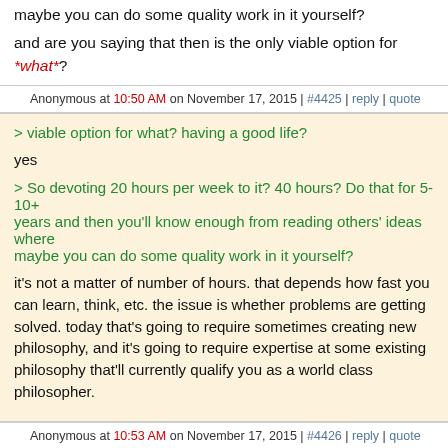maybe you can do some quality work in it yourself?
and are you saying that then is the only viable option for *what*?
Anonymous at 10:50 AM on November 17, 2015 | #4425 | reply | quote
> viable option for what? having a good life?
yes
> So devoting 20 hours per week to it? 40 hours? Do that for 5-10+ years and then you'll know enough from reading others' ideas where maybe you can do some quality work in it yourself?
it's not a matter of number of hours. that depends how fast you can learn, think, etc. the issue is whether problems are getting solved. today that's going to require sometimes creating new philosophy, and it's going to require expertise at some existing philosophy that'll currently qualify you as a world class philosopher.
Anonymous at 10:53 AM on November 17, 2015 | #4426 | reply | quote
what do you mean by creating new philosophy? does that mean creating new abstract pure philosophy (e.g. epistemological ideas)?
what if you a person isn't very interested in epistemology and doesn't